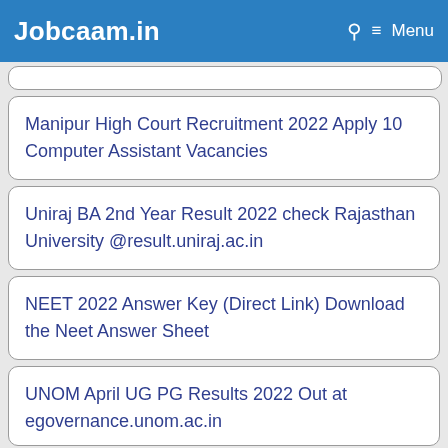Jobcaam.in  🔍  ☰ Menu
Manipur High Court Recruitment 2022 Apply 10 Computer Assistant Vacancies
Uniraj BA 2nd Year Result 2022 check Rajasthan University @result.uniraj.ac.in
NEET 2022 Answer Key (Direct Link) Download the Neet Answer Sheet
UNOM April UG PG Results 2022 Out at egovernance.unom.ac.in